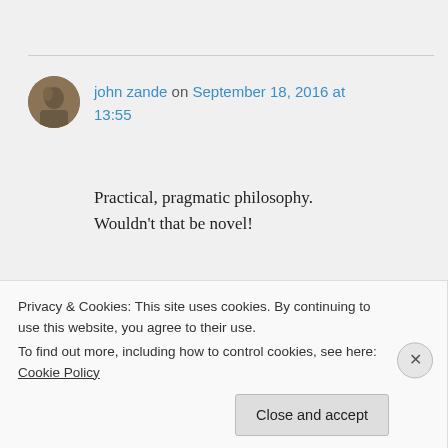john zande on September 18, 2016 at 13:55
Practical, pragmatic philosophy. Wouldn't that be novel!
★ Like
↪ Reply
Privacy & Cookies: This site uses cookies. By continuing to use this website, you agree to their use. To find out more, including how to control cookies, see here: Cookie Policy
Close and accept